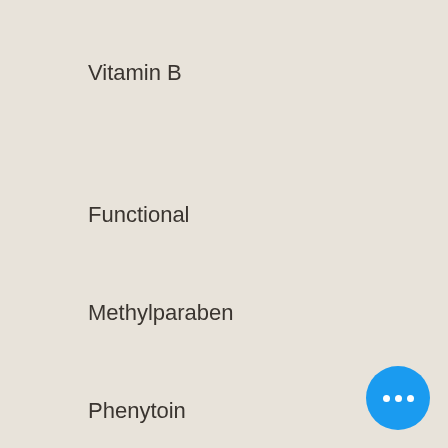Niacin
Folate
Copper
Phosphorus
Selenium
Manganese
Vitamin B
Functional
Methylparaben
Phenytoin
[Figure (other): Blue circular FAB button with three white dots (ellipsis/more options)]